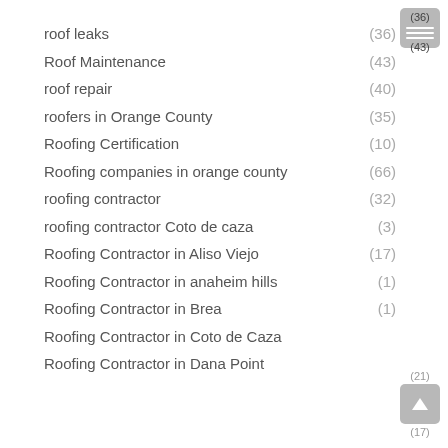roof leaks (36)
Roof Maintenance (43)
roof repair (40)
roofers in Orange County (35)
Roofing Certification (10)
Roofing companies in orange county (66)
roofing contractor (32)
roofing contractor Coto de caza (3)
Roofing Contractor in Aliso Viejo (17)
Roofing Contractor in anaheim hills (1)
Roofing Contractor in Brea (1)
Roofing Contractor in Coto de Caza (21)
Roofing Contractor in Dana Point (17)